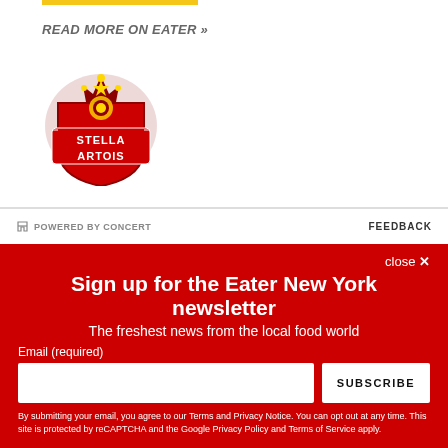READ MORE ON EATER »
[Figure (logo): Stella Artois beer brand logo — red shield with crown and decorative elements, text reads STELLA ARTOIS]
POWERED BY CONCERT   FEEDBACK
Sign up for the Eater New York newsletter
The freshest news from the local food world
Email (required)
SUBSCRIBE
By submitting your email, you agree to our Terms and Privacy Notice. You can opt out at any time. This site is protected by reCAPTCHA and the Google Privacy Policy and Terms of Service apply.